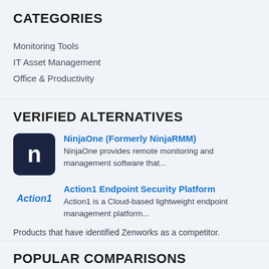CATEGORIES
Monitoring Tools
IT Asset Management
Office & Productivity
VERIFIED ALTERNATIVES
[Figure (logo): NinjaOne logo — dark navy square with white letter n]
NinjaOne (Formerly NinjaRMM) — NinjaOne provides remote monitoring and management software that...
[Figure (logo): Action1 logo — blue italic text reading Action1]
Action1 Endpoint Security Platform — Action1 is a Cloud-based lightweight endpoint management platform...
Products that have identified Zenworks as a competitor.
POPULAR COMPARISONS